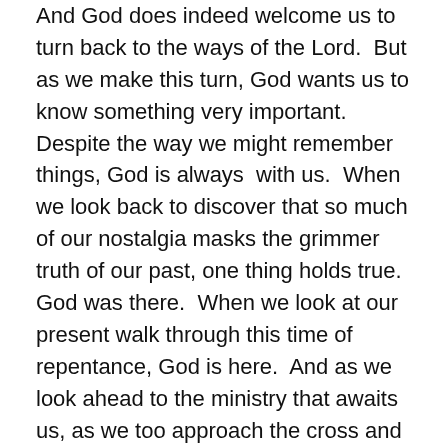And God does indeed welcome us to turn back to the ways of the Lord.  But as we make this turn, God wants us to know something very important.  Despite the way we might remember things, God is always  with us.  When we look back to discover that so much of our nostalgia masks the grimmer truth of our past, one thing holds true.  God was there.  When we look at our present walk through this time of repentance, God is here.  And as we look ahead to the ministry that awaits us, as we too approach the cross and the tomb, we must go forward to proclaim the Good News, carrying with us the assurance that God will be here.
Friends, throughout our own Lenten journeys, I encourage each of us to recognize that this is the right place and the right time to turn to God.  In the midst of the joys in our lives, as we celebrate a successful day at work, a good